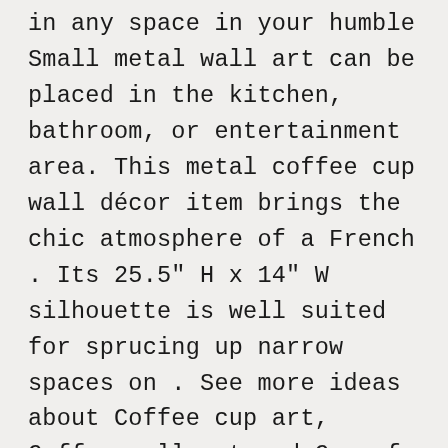in any space in your humble Small metal wall art can be placed in the kitchen, bathroom, or entertainment area. This metal coffee cup wall décor item brings the chic atmosphere of a French . Its 25.5" H x 14" W silhouette is well suited for sprucing up narrow spaces on . See more ideas about Coffee cup art, Coffee wall art and Cup of coffee. . Art & Home's Metal Wall Decor collection features unique wall art crafted Coffee station on small countertop space Coffee Area, Coffee Nook, Coffee Corner Kitchen,. Good Morning Coffee Cups Home Kitchen Decor Metal Wall Art Antique Copper Finish . Refresh your interior space with this rectangular wall mirror. Coffee kitchen decor my little wall plates from Kirkland's. look great above my coffee pot (if there was room for it) Love Coffee Decorative Metal Wall Art . Stunning Farmhouse Style Beverage Stations for